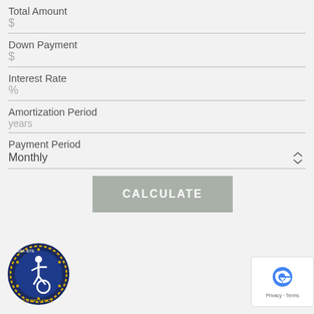Total Amount
$
Down Payment
$
Interest Rate
%
Amortization Period
years
Payment Period
Monthly
CALCULATE
[Figure (logo): ADA Site Compliance badge — circular navy/gold badge with wheelchair icon]
[Figure (logo): Google reCAPTCHA badge with privacy and terms links]